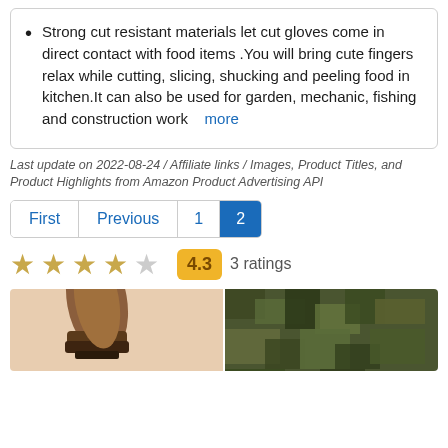Strong cut resistant materials let cut gloves come in direct contact with food items .You will bring cute fingers relax while cutting, slicing, shucking and peeling food in kitchen.It can also be used for garden, mechanic, fishing and construction work  more
Last update on 2022-08-24 / Affiliate links / Images, Product Titles, and Product Highlights from Amazon Product Advertising API
First  Previous  1  2
4.3  3 ratings
[Figure (photo): Two product images side by side: brown suede boots on pink background (left) and camouflage clothing on dark background (right)]